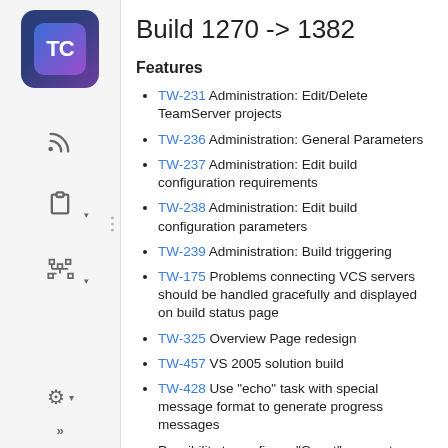Build 1270 -> 1382
Features
TW-231 Administration: Edit/Delete TeamServer projects
TW-236 Administration: General Parameters
TW-237 Administration: Edit build configuration requirements
TW-238 Administration: Edit build configuration parameters
TW-239 Administration: Build triggering
TW-175 Problems connecting VCS servers should be handled gracefully and displayed on build status page
TW-325 Overview Page redesign
TW-457 VS 2005 solution build
TW-428 Use "echo" task with special message format to generate progress messages
Possibility to configure "Guest" account
TW-116 Ignored tests support for C# builds
TW-319 Do not differ failed and crashed tests
TW-301 Find build by tag should be updated and...